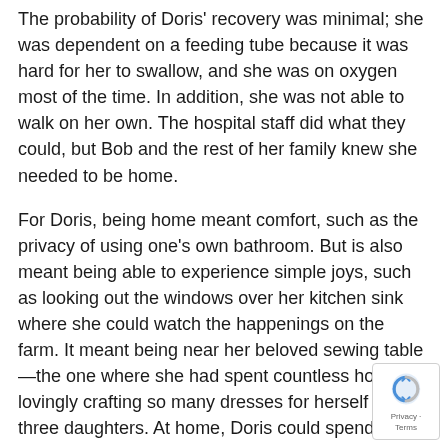The probability of Doris' recovery was minimal; she was dependent on a feeding tube because it was hard for her to swallow, and she was on oxygen most of the time. In addition, she was not able to walk on her own. The hospital staff did what they could, but Bob and the rest of her family knew she needed to be home.
For Doris, being home meant comfort, such as the privacy of using one's own bathroom. But is also meant being able to experience simple joys, such as looking out the windows over her kitchen sink where she could watch the happenings on the farm. It meant being near her beloved sewing table—the one where she had spent countless hours lovingly crafting so many dresses for herself and three daughters. At home, Doris could spend time in her garden enjoying the busy bird feeder.